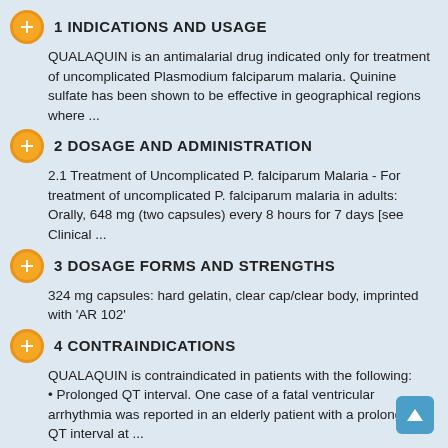1 INDICATIONS AND USAGE
QUALAQUIN is an antimalarial drug indicated only for treatment of uncomplicated Plasmodium falciparum malaria. Quinine sulfate has been shown to be effective in geographical regions where ...
2 DOSAGE AND ADMINISTRATION
2.1 Treatment of Uncomplicated P. falciparum Malaria - For treatment of uncomplicated P. falciparum malaria in adults: Orally, 648 mg (two capsules) every 8 hours for 7 days [see Clinical ...
3 DOSAGE FORMS AND STRENGTHS
324 mg capsules: hard gelatin, clear cap/clear body, imprinted with 'AR 102'
4 CONTRAINDICATIONS
QUALAQUIN is contraindicated in patients with the following:
• Prolonged QT interval. One case of a fatal ventricular arrhythmia was reported in an elderly patient with a prolonged QT interval at ...
5 WARNINGS AND PRECAUTIONS